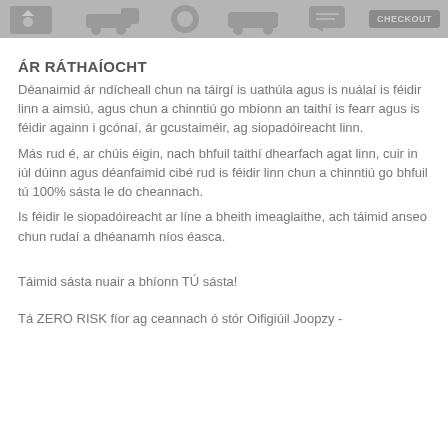[Figure (illustration): Row of grey shopping/service icons at the top of the page including a star/rating card, a truck/vehicle, a circular icon, another vehicle, a speech bubble, and a checkout button on the right.]
ÁR RÁTHAÍOCHT
Déanaimid ár ndícheall chun na táirgí is uathúla agus is nuálaí is féidir linn a aimsiú, agus chun a chinntiú go mbíonn an taithí is fearr agus is féidir againn i gcónaí, ár gcustaiméir, ag siopadóireacht linn.
Más rud é, ar chúis éigin, nach bhfuil taithí dhearfach agat linn, cuir in iúl dúinn agus déanfaimid cibé rud is féidir linn chun a chinntiú go bhfuil tú 100% sásta le do cheannach.
Is féidir le siopadóireacht ar líne a bheith imeaglaithe, ach táimid anseo chun rudaí a dhéanamh níos éasca.
Táimid sásta nuair a bhíonn TÚ sásta!
Tá ZERO RISK fíor ag ceannach ó stór Oifigiúil Joopzy -